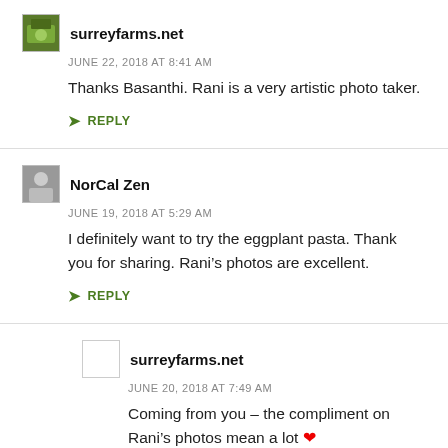surreyfarms.net
JUNE 22, 2018 AT 8:41 AM
Thanks Basanthi. Rani is a very artistic photo taker.
REPLY
NorCal Zen
JUNE 19, 2018 AT 5:29 AM
I definitely want to try the eggplant pasta. Thank you for sharing. Rani’s photos are excellent.
REPLY
surreyfarms.net
JUNE 20, 2018 AT 7:49 AM
Coming from you – the compliment on Rani’s photos mean a lot ❤